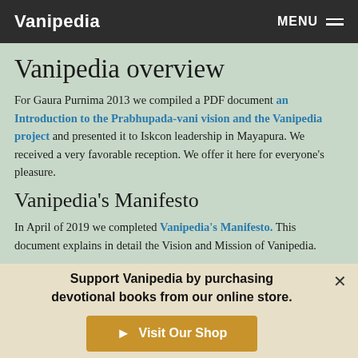Vanipedia  MENU
Vanipedia overview
For Gaura Purnima 2013 we compiled a PDF document an Introduction to the Prabhupada-vani vision and the Vanipedia project and presented it to Iskcon leadership in Mayapura. We received a very favorable reception. We offer it here for everyone's pleasure.
Vanipedia's Manifesto
In April of 2019 we completed Vanipedia's Manifesto. This document explains in detail the Vision and Mission of Vanipedia.
Support Vanipedia by purchasing devotional books from our online store.
Visit Our Shop